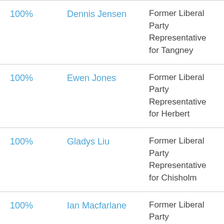| 100% | Dennis Jensen | Former Liberal Party Representative for Tangney |
| 100% | Ewen Jones | Former Liberal Party Representative for Herbert |
| 100% | Gladys Liu | Former Liberal Party Representative for Chisholm |
| 100% | Ian Macfarlane | Former Liberal Party |